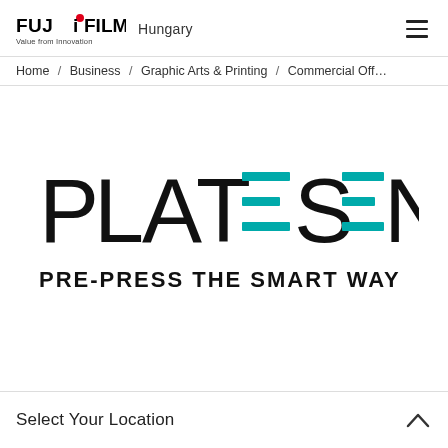FUJIFILM Value from Innovation | Hungary | (menu)
Home / Business / Graphic Arts & Printing / Commercial Off...
[Figure (logo): PLATESENSE - PRE-PRESS THE SMART WAY logo. The word PLATESENSE is in large black and teal letters, with horizontal teal lines replacing the letter E throughout. Below is the tagline PRE-PRESS THE SMART WAY in black.]
Select Your Location